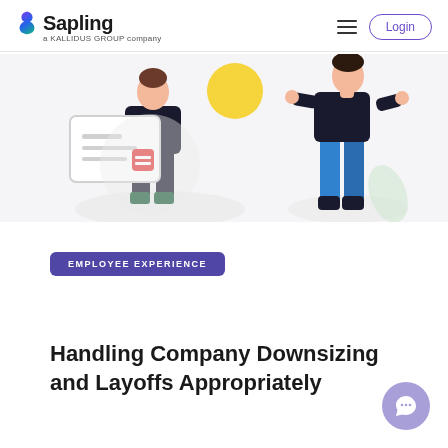Sapling – a KALLIDUS GROUP company
[Figure (illustration): Two illustrated figures: left figure holds a large certificate/document with red icon, right figure stands with arms out. Yellow sun graphic in center background.]
EMPLOYEE EXPERIENCE
Handling Company Downsizing and Layoffs Appropriately